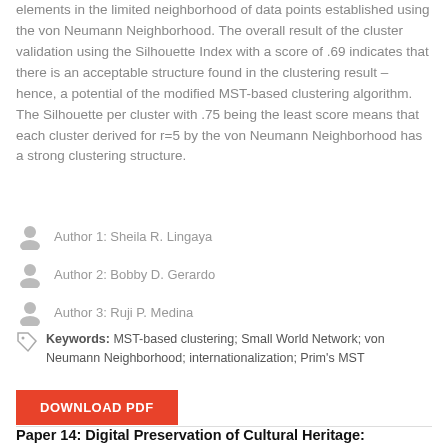elements in the limited neighborhood of data points established using the von Neumann Neighborhood. The overall result of the cluster validation using the Silhouette Index with a score of .69 indicates that there is an acceptable structure found in the clustering result – hence, a potential of the modified MST-based clustering algorithm. The Silhouette per cluster with .75 being the least score means that each cluster derived for r=5 by the von Neumann Neighborhood has a strong clustering structure.
Author 1: Sheila R. Lingaya
Author 2: Bobby D. Gerardo
Author 3: Ruji P. Medina
Keywords: MST-based clustering; Small World Network; von Neumann Neighborhood; internationalization; Prim's MST
DOWNLOAD PDF
Paper 14: Digital Preservation of Cultural Heritage: Terengganu Brassware Craft